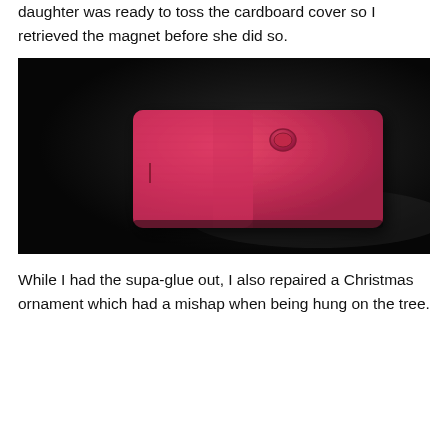daughter was ready to toss the cardboard cover so I retrieved the magnet before she did so.
[Figure (photo): A red/pink leather wallet or phone case with a snap-button closure, photographed on a dark black surface with dramatic lighting.]
While I had the supa-glue out, I also repaired a Christmas ornament which had a mishap when being hung on the tree.